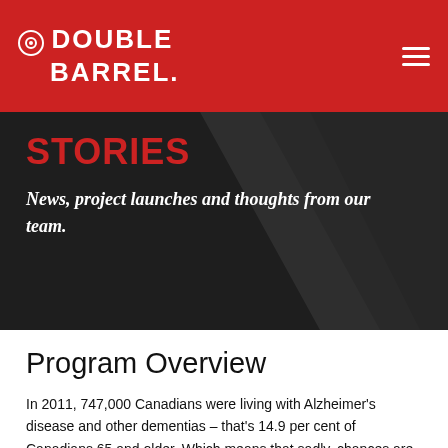DOUBLE BARREL
STORIES
News, project launches and thoughts from our team.
Program Overview
In 2011, 747,000 Canadians were living with Alzheimer's disease and other dementias – that's 14.9 per cent of Canadians 65 and older. Which means that sadly, chances are high that you know someone who has suffered, or is currently suffering from these diseases.
As our population ages, these numbers are only